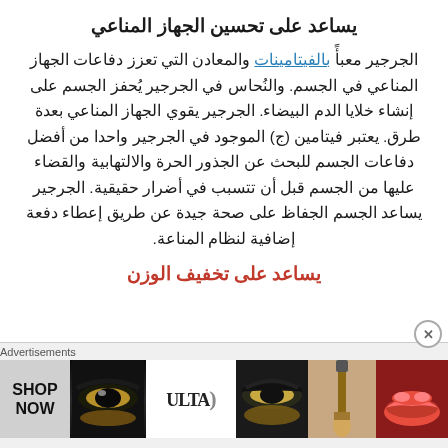يساعد على تحسين الجهاز المناعي
الجرجير معبأً بالفيتامينات والمعادن التي تعزز دفاعات الجهاز المناعي في الجسم. والنُحاس في الجرجير يُحفز الجسم على إنشاء خلايا الدم البيضاء. الجرجير يقوي الجهاز المناعي بعدة طرق. يعتبر فيتامين (ج) الموجود في الجرجير واحدا من أفضل دفاعات الجسم للبحث عن الجذور الحرة والالتهابية والقضاء عليها من الجسم قبل أن تتسبب في أضرار حقيقية. الجرجير يساعد الجسم الجفاظ على صحة جيدة عن طريق إعطاء دفعة إضافية لنظام المناعة.
يساعد على تخفيف الوزن
[Figure (photo): ULTA beauty advertisement banner with makeup/beauty images and SHOP NOW text]